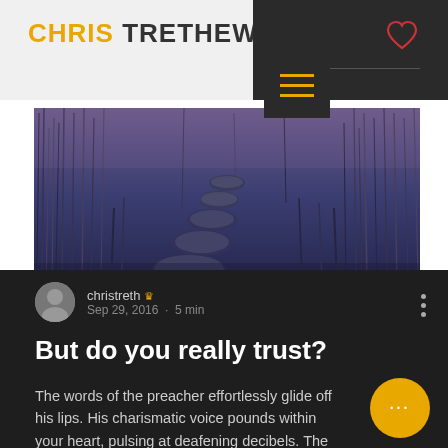CHRIS TRETHEWEY
[Figure (screenshot): Website header with logo 'CHRIS TRETHEWEY' (CHRIS in gold/yellow), dark navigation bar with hamburger menu icon (three yellow lines on dark background), heart icon in red outline on dark right panel, and a thin horizontal line.]
[Figure (photo): Stepping stones path through tall grass/reeds, blue-toned moody photograph]
christreth 👑  Sep 29, 2016 · 5 min
But do you really trust?
The words of the preacher effortlessly glide off his lips. His charismatic voice pounds within your heart, pulsing at deafening decibels. The perfectly constructed words,